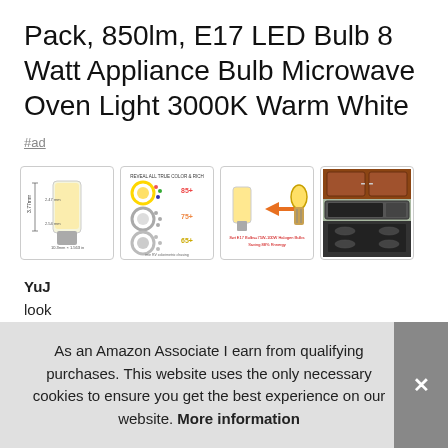Pack, 850lm, E17 LED Bulb 8 Watt Appliance Bulb Microwave Oven Light 3000K Warm White
#ad
[Figure (photo): Four product images in a row: LED bulb diagram with dimensions, color rendering index infographic, LED vs halogen comparison with orange arrow, and kitchen/microwave oven photo]
YuJ
look
inte
ove
etc
As an Amazon Associate I earn from qualifying purchases. This website uses the only necessary cookies to ensure you get the best experience on our website. More information